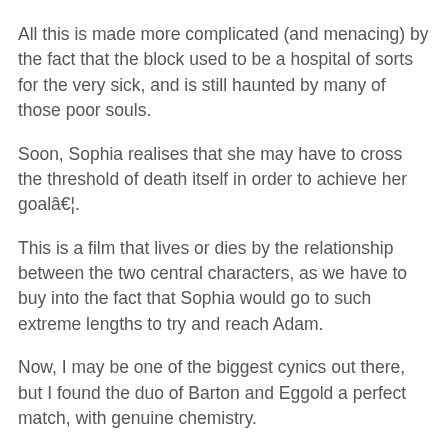All this is made more complicated (and menacing) by the fact that the block used to be a hospital of sorts for the very sick, and is still haunted by many of those poor souls.
Soon, Sophia realises that she may have to cross the threshold of death itself in order to achieve her goalâ€¦.
This is a film that lives or dies by the relationship between the two central characters, as we have to buy into the fact that Sophia would go to such extreme lengths to try and reach Adam.
Now, I may be one of the biggest cynics out there, but I found the duo of Barton and Eggold a perfect match, with genuine chemistry.
This is put across through a series of touching flashback sequences, expertly handled by director Mark Edwin Robinson.
Everything is played out on a believable level,